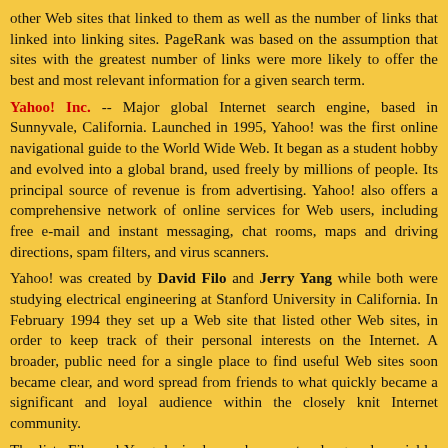other Web sites that linked to them as well as the number of links that linked into linking sites. PageRank was based on the assumption that sites with the greatest number of links were more likely to offer the best and most relevant information for a given search term.
Yahoo! Inc. -- Major global Internet search engine, based in Sunnyvale, California. Launched in 1995, Yahoo! was the first online navigational guide to the World Wide Web. It began as a student hobby and evolved into a global brand, used freely by millions of people. Its principal source of revenue is from advertising. Yahoo! also offers a comprehensive network of online services for Web users, including free e-mail and instant messaging, chat rooms, maps and driving directions, spam filters, and virus scanners.
Yahoo! was created by David Filo and Jerry Yang while both were studying electrical engineering at Stanford University in California. In February 1994 they set up a Web site that listed other Web sites, in order to keep track of their personal interests on the Internet. A broader, public need for a single place to find useful Web sites soon became clear, and word spread from friends to what quickly became a significant and loyal audience within the closely knit Internet community.
The lists Filo and Yang devised soon became too long and unwieldy, and so they introduced categories, and then subcategories, thus creating a customized database that is the basic concept of Yahoo! Filo and Yang also developed software to help them efficiently locate, identify, and edit material stored on the Internet. By the autumn of 1994 Yahoo! was receiving 1 million page views per day.
GiggleYohoo -- a dummy site owned, designed and modified by intel828c, based in Davao City, Philippines but not made in China. The site was activated on December